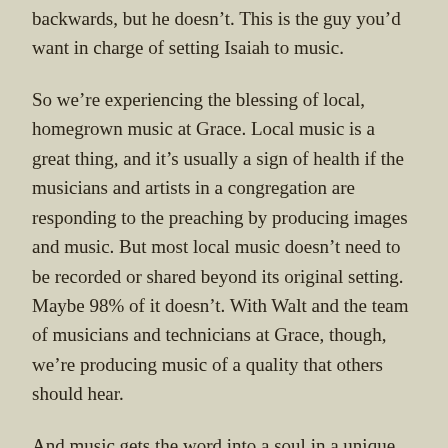backwards, but he doesn't. This is the guy you'd want in charge of setting Isaiah to music.
So we're experiencing the blessing of local, homegrown music at Grace. Local music is a great thing, and it's usually a sign of health if the musicians and artists in a congregation are responding to the preaching by producing images and music. But most local music doesn't need to be recorded or shared beyond its original setting. Maybe 98% of it doesn't. With Walt and the team of musicians and technicians at Grace, though, we're producing music of a quality that others should hear.
And music gets the word into a soul in a unique way. There's nothing like it. You can preach and teach and argue and explain all you want, but singers can cheat: